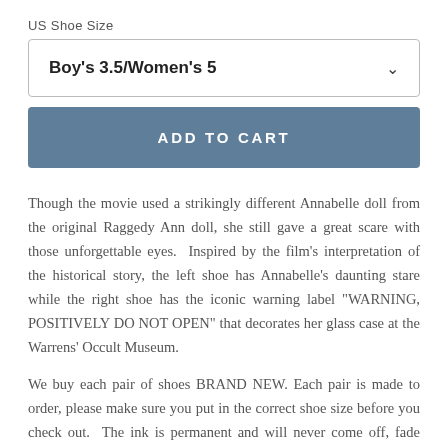US Shoe Size
Boy's 3.5/Women's 5
ADD TO CART
Though the movie used a strikingly different Annabelle doll from the original Raggedy Ann doll, she still gave a great scare with those unforgettable eyes.  Inspired by the film's interpretation of the historical story, the left shoe has Annabelle's daunting stare while the right shoe has the iconic warning label "WARNING, POSITIVELY DO NOT OPEN" that decorates her glass case at the Warrens' Occult Museum.
We buy each pair of shoes BRAND NEW. Each pair is made to order, please make sure you put in the correct shoe size before you check out.  The ink is permanent and will never come off, fade away, or